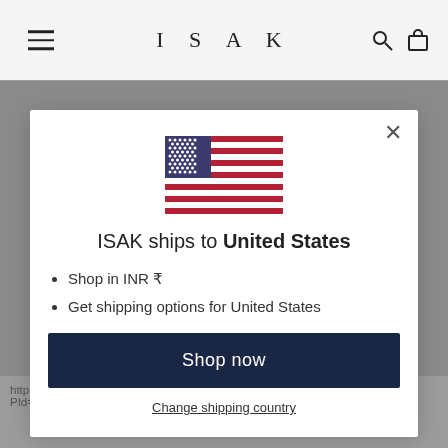ISAK
[Figure (screenshot): Modal dialog showing US flag, shipping info for ISAK store]
ISAK ships to United States
Shop in INR ₹
Get shipping options for United States
Shop now
Change shipping country
https://www.instantencore.com/pac/reviews/review.aspx?PId=5136105&TopicId=1023958